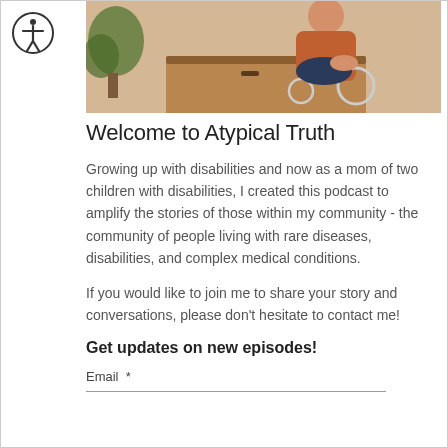[Figure (photo): Photo of a person sitting in a wheelchair near a wooden desk with a plant in the background, wearing an orange top]
Welcome to Atypical Truth
Growing up with disabilities and now as a mom of two children with disabilities, I created this podcast to amplify the stories of those within my community - the community of people living with rare diseases, disabilities, and complex medical conditions.
If you would like to join me to share your story and conversations, please don't hesitate to contact me!
Get updates on new episodes!
Email *